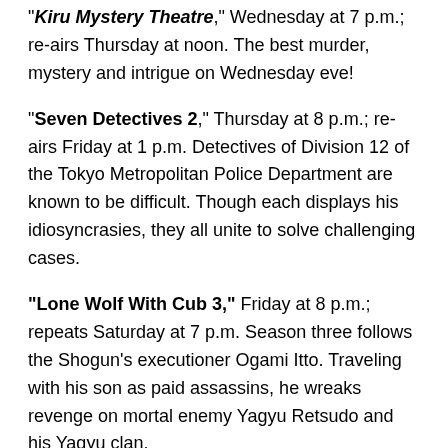“Kiru Mystery Theatre,” Wednesday at 7 p.m.; re-airs Thursday at noon. The best murder, mystery and intrigue on Wednesday eve!
“Seven Detectives 2,” Thursday at 8 p.m.; re-airs Friday at 1 p.m. Detectives of Division 12 of the Tokyo Metropolitan Police Department are known to be difficult. Though each displays his idiosyncrasies, they all unite to solve challenging cases.
“Lone Wolf With Cub 3,” Friday at 8 p.m.; repeats Saturday at 7 p.m. Season three follows the Shogun’s executioner Ogami Itto. Traveling with his son as paid assassins, he wreaks revenge on mortal enemy Yagyu Retsudo and his Yagyu clan.
“You’re My Home,” Saturday at 5 p.m. until Oct. 3. The Fontanilla family’s happy life unravels when the parents bring